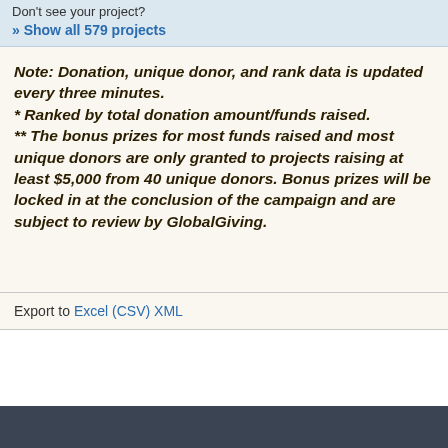Don't see your project? » Show all 579 projects
Note: Donation, unique donor, and rank data is updated every three minutes.
* Ranked by total donation amount/funds raised.
** The bonus prizes for most funds raised and most unique donors are only granted to projects raising at least $5,000 from 40 unique donors. Bonus prizes will be locked in at the conclusion of the campaign and are subject to review by GlobalGiving.
Export to Excel (CSV) XML